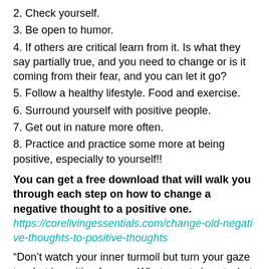2. Check yourself.
3. Be open to humor.
4. If others are critical learn from it. Is what they say partially true, and you need to change or is it coming from their fear, and you can let it go?
5. Follow a healthy lifestyle. Food and exercise.
6. Surround yourself with positive people.
7. Get out in nature more often.
8. Practice and practice some more at being positive, especially to yourself!!
You can get a free download that will walk you through each step on how to change a negative thought to a positive one. https://corelivingessentials.com/change-old-negative-thoughts-to-positive-thoughts
“Don’t watch your inner turmoil but turn your gaze to what is waiting for you. What counts is not what lurks in the depths, but what waits in the future, waits to be actualized by you….